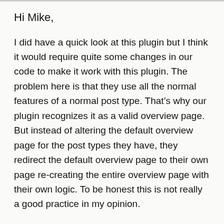Hi Mike,
I did have a quick look at this plugin but I think it would require quite some changes in our code to make it work with this plugin. The problem here is that they use all the normal features of a normal post type. That’s why our plugin recognizes it as a valid overview page. But instead of altering the default overview page for the post types they have, they redirect the default overview page to their own page re-creating the entire overview page with their own logic. To be honest this is not really a good practice in my opinion.
...